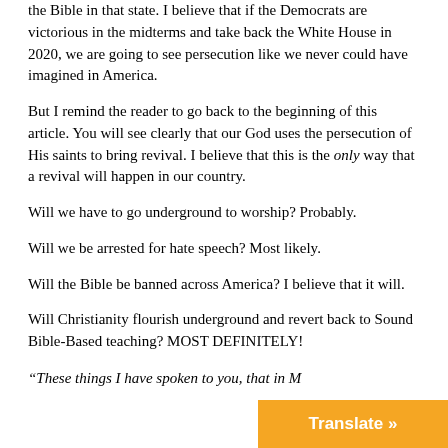the Bible in that state. I believe that if the Democrats are victorious in the midterms and take back the White House in 2020, we are going to see persecution like we never could have imagined in America.
But I remind the reader to go back to the beginning of this article. You will see clearly that our God uses the persecution of His saints to bring revival. I believe that this is the only way that a revival will happen in our country.
Will we have to go underground to worship? Probably.
Will we be arrested for hate speech? Most likely.
Will the Bible be banned across America? I believe that it will.
Will Christianity flourish underground and revert back to Sound Bible-Based teaching? MOST DEFINITELY!
“These things I have spoken to you, that in M
Translate »